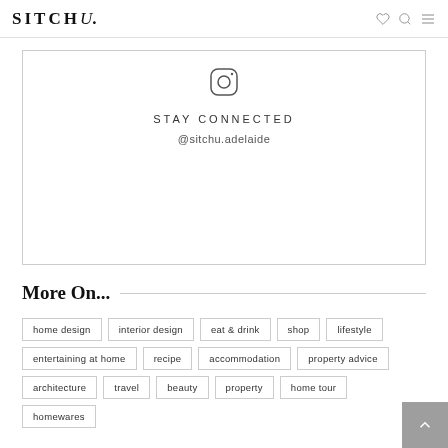SITCHU.
[Figure (logo): Instagram icon inside rounded square border]
STAY CONNECTED
@sitchu.adelaide
More On...
home design
interior design
eat & drink
shop
lifestyle
entertaining at home
recipe
accommodation
property advice
architecture
travel
beauty
property
home tour
homewares